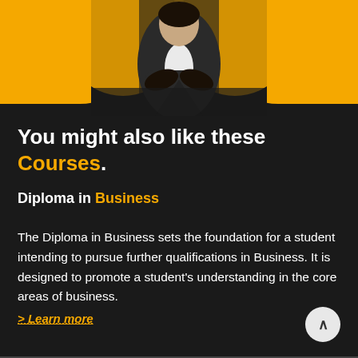[Figure (photo): Woman in black business suit with arms crossed, shown from waist up against a dark background with yellow/gold curved shapes on either side]
You might also like these Courses.
Diploma in Business
The Diploma in Business sets the foundation for a student intending to pursue further qualifications in Business. It is designed to promote a student’s understanding in the core areas of business.
> Learn more